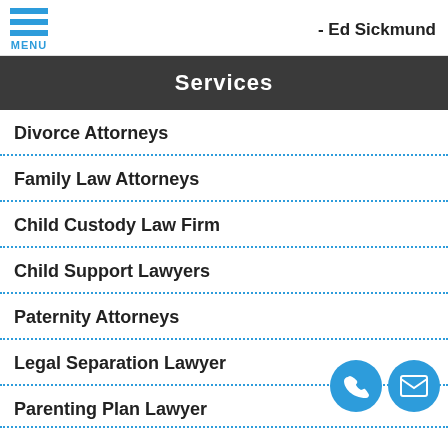- Ed Sickmund
Services
Divorce Attorneys
Family Law Attorneys
Child Custody Law Firm
Child Support Lawyers
Paternity Attorneys
Legal Separation Lawyer
Parenting Plan Lawyer